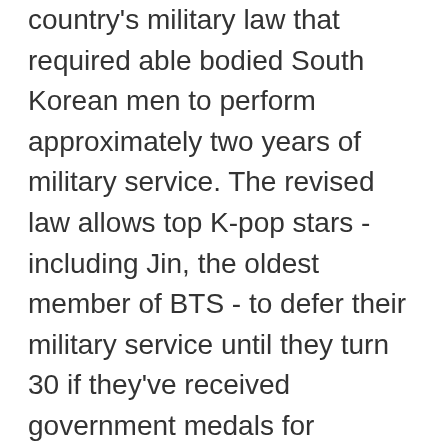country's military law that required able bodied South Korean men to perform approximately two years of military service. The revised law allows top K-pop stars - including Jin, the oldest member of BTS - to defer their military service until they turn 30 if they've received government medals for heightening the country's cultural reputation and apply for the postponement. All BTS members meet the criteria as recipients of government medals in 2018.
"Obviously, there's a looming military enlistment so they might have thought it'd be good to do something individually